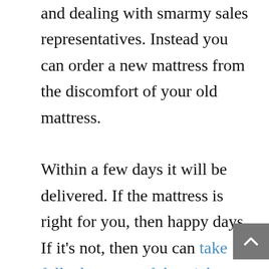and dealing with smarmy sales representatives. Instead you can order a new mattress from the discomfort of your old mattress.

Within a few days it will be delivered. If the mattress is right for you, then happy days. If it's not, then you can take full advantage of the trial period. Your mattress will then be collected and depending on who you bought it from you will either receive a full refund, or you'll have th… p it for
Privacy & Cookies Policy